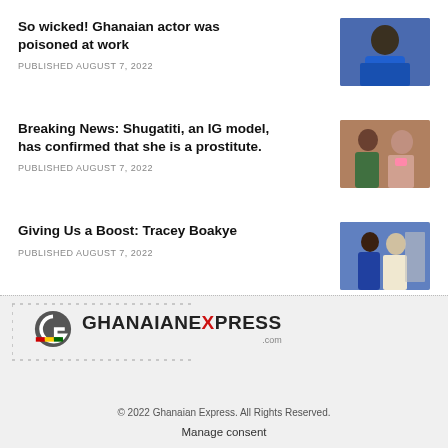So wicked! Ghanaian actor was poisoned at work
PUBLISHED AUGUST 7, 2022
[Figure (photo): Portrait of a man in a blue shirt]
Breaking News: Shugatiti, an IG model, has confirmed that she is a prostitute.
PUBLISHED AUGUST 7, 2022
[Figure (photo): Two people, one appears to be conducting an interview]
Giving Us a Boost: Tracey Boakye
PUBLISHED AUGUST 7, 2022
[Figure (photo): People in colourful attire outdoors]
[Figure (logo): Ghanaian Express .com logo]
© 2022 Ghanaian Express. All Rights Reserved.
Manage consent